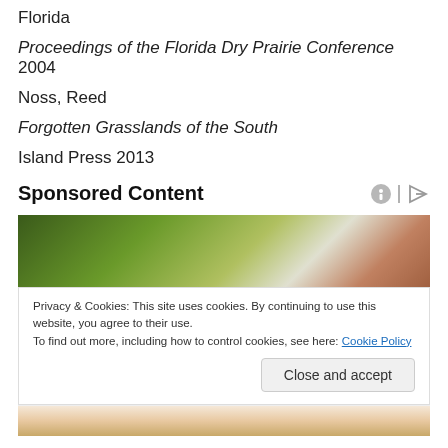Florida
Proceedings of the Florida Dry Prairie Conference 2004
Noss, Reed
Forgotten Grasslands of the South
Island Press 2013
Sponsored Content
[Figure (photo): Abstract blurred photo with green and brown tones used as advertisement banner]
Privacy & Cookies: This site uses cookies. By continuing to use this website, you agree to their use.
To find out more, including how to control cookies, see here: Cookie Policy
[Figure (photo): Partial photo showing hands against a green background, bottom of the ad]